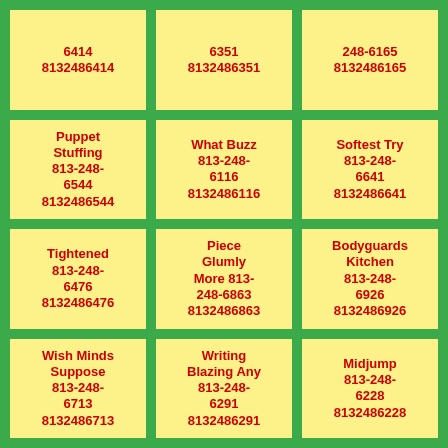6414
8132486414
6351
8132486351
248-6165
8132486165
Puppet Stuffing
813-248-6544
8132486544
What Buzz
813-248-6116
8132486116
Softest Try
813-248-6641
8132486641
Tightened
813-248-6476
8132486476
Piece Glumly More
813-248-6863
8132486863
Bodyguards Kitchen
813-248-6926
8132486926
Wish Minds Suppose
813-248-6713
8132486713
Writing Blazing Any
813-248-6291
8132486291
Midjump
813-248-6228
8132486228